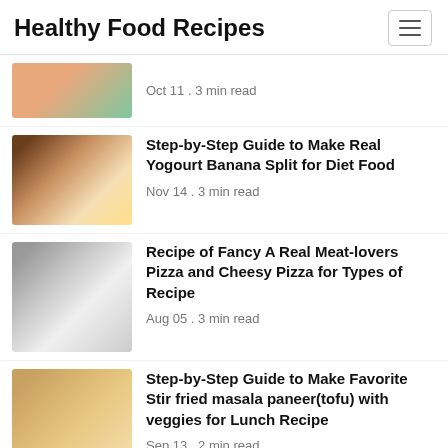Healthy Food Recipes
Oct 11 . 3 min read
Step-by-Step Guide to Make Real Yogourt Banana Split for Diet Food
Nov 14 . 3 min read
Recipe of Fancy A Real Meat-lovers Pizza and Cheesy Pizza for Types of Recipe
Aug 05 . 3 min read
Step-by-Step Guide to Make Favorite Stir fried masala paneer(tofu) with veggies for Lunch Recipe
Sep 13 . 2 min read
Recipe of Creative Nutella Coconut